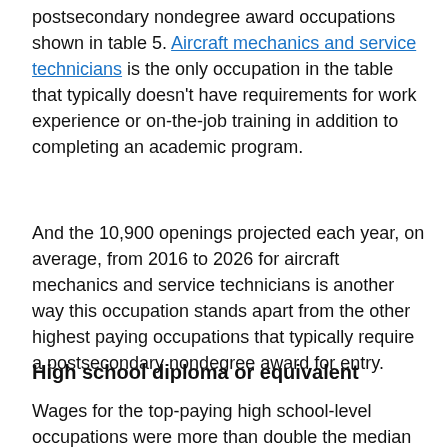postsecondary nondegree award occupations shown in table 5. Aircraft mechanics and service technicians is the only occupation in the table that typically doesn't have requirements for work experience or on-the-job training in addition to completing an academic program.
And the 10,900 openings projected each year, on average, from 2016 to 2026 for aircraft mechanics and service technicians is another way this occupation stands apart from the other highest paying occupations that typically require a postsecondary nondegree award for entry.
High school diploma or equivalent
Wages for the top-paying high school-level occupations were more than double the median for all occupations.